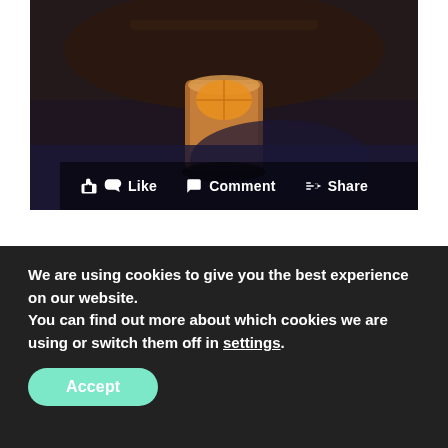[Figure (screenshot): Facebook post image showing a drink in a glass on a dark surface, with Like, Comment, and Share action buttons overlaid at the bottom of the image.]
BODEGA LA TIETA
Situated on Carrer de Blai in Poble Sec, Bodega la Tieta is already a favourite
We are using cookies to give you the best experience on our website.
You can find out more about which cookies we are using or switch them off in settings.
Accept